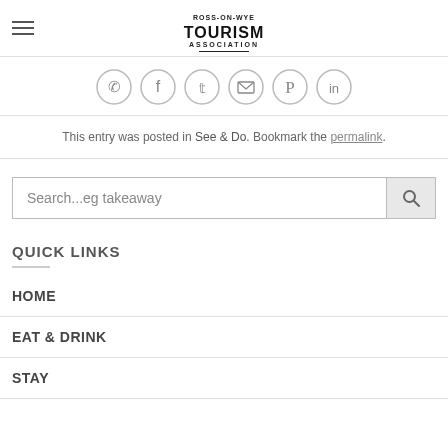ROSS-ON-WYE TOURISM ASSOCIATION
[Figure (infographic): Social media share icons in circles: WhatsApp, Facebook, Twitter, Email, Pinterest, LinkedIn]
This entry was posted in See & Do. Bookmark the permalink.
Search...eg takeaway
QUICK LINKS
HOME
EAT & DRINK
STAY